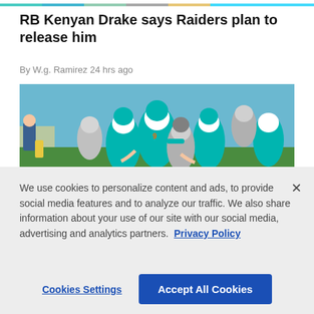[Figure (photo): Cropped top portion of a sports action photo showing football players]
RB Kenyan Drake says Raiders plan to release him
By W.g. Ramirez 24 hrs ago
[Figure (photo): Football game action photo showing Miami Dolphins players in teal uniforms tackling/blocking Las Vegas Raiders players in silver and black uniforms]
We use cookies to personalize content and ads, to provide social media features and to analyze our traffic. We also share information about your use of our site with our social media, advertising and analytics partners. Privacy Policy
Cookies Settings   Accept All Cookies